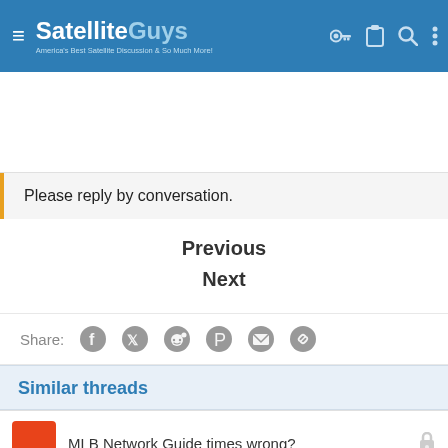SatelliteGuys — America's Best Satellite Discussion & So Much More!
[Figure (other): Advertisement banner area]
Please reply by conversation.
Previous
Next
Share:
Similar threads
MLB Network Guide times wrong?